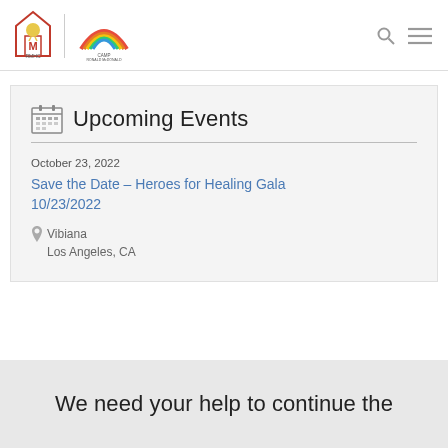[Figure (logo): RMHC and Camp Ronald McDonald for Good Times logos side by side]
Upcoming Events
October 23, 2022
Save the Date – Heroes for Healing Gala 10/23/2022
Vibiana
Los Angeles, CA
We need your help to continue the